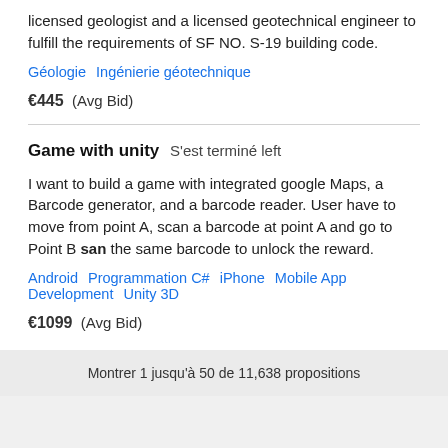licensed geologist and a licensed geotechnical engineer to fulfill the requirements of SF NO. S-19 building code.
Géologie   Ingénierie géotechnique
€445  (Avg Bid)
Game with unity   S&#039;est terminé left
I want to build a game with integrated google Maps, a Barcode generator, and a barcode reader. User have to move from point A, scan a barcode at point A and go to Point B san the same barcode to unlock the reward.
Android   Programmation C#   iPhone   Mobile App Development   Unity 3D
€1099  (Avg Bid)
Montrer 1 jusqu'à 50 de 11,638 propositions